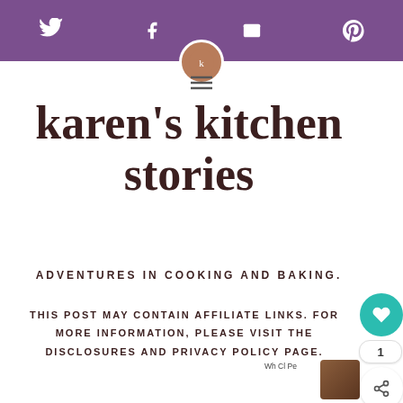Social media navigation bar with Twitter, Facebook, Email, Pinterest icons
[Figure (logo): Hamburger menu icon (three horizontal lines)]
karen's kitchen stories
ADVENTURES IN COOKING AND BAKING.
THIS POST MAY CONTAIN AFFILIATE LINKS. FOR MORE INFORMATION, PLEASE VISIT THE DISCLOSURES AND PRIVACY POLICY PAGE.